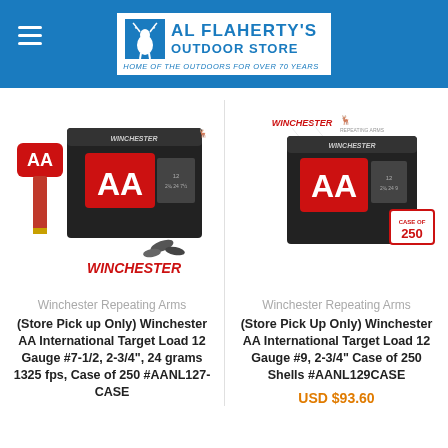Al Flaherty's Outdoor Store — Home of the Outdoors for Over 70 Years
[Figure (photo): Winchester AA International Target Load box with shell, Case of 250 (left product image)]
Winchester Repeating Arms
(Store Pick up Only) Winchester AA International Target Load 12 Gauge #7-1/2, 2-3/4", 24 grams 1325 fps, Case of 250 #AANL127-CASE
[Figure (photo): Winchester AA International Target Load box, Case of 250 Shells (right product image)]
Winchester Repeating Arms
(Store Pick Up Only) Winchester AA International Target Load 12 Gauge #9, 2-3/4" Case of 250 Shells #AANL129CASE
USD $93.60